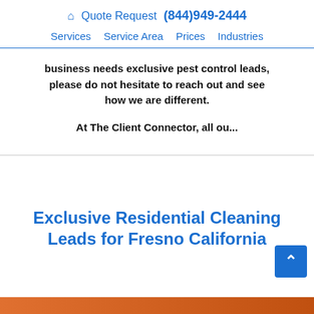🏠 Quote Request (844)949-2444 | Services | Service Area | Prices | Industries
business needs exclusive pest control leads, please do not hesitate to reach out and see how we are different.
At The Client Connector, all ou...
Exclusive Residential Cleaning Leads for Fresno California